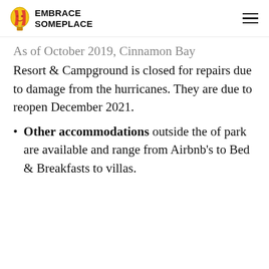Embrace Someplace
As of October 2019, Cinnamon Bay Resort & Campground is closed for repairs due to damage from the hurricanes. They are due to reopen December 2021.
Other accommodations outside the of park are available and range from Airbnb's to Bed & Breakfasts to villas.